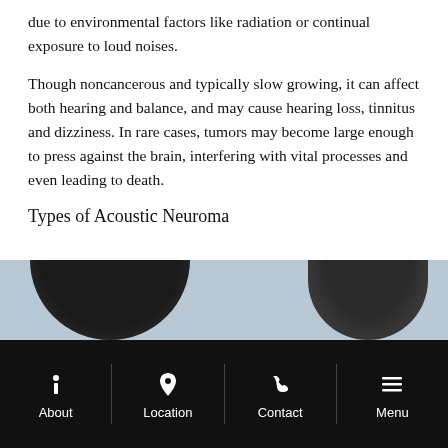due to environmental factors like radiation or continual exposure to loud noises.
Though noncancerous and typically slow growing, it can affect both hearing and balance, and may cause hearing loss, tinnitus and dizziness. In rare cases, tumors may become large enough to press against the brain, interfering with vital processes and even leading to death.
Types of Acoustic Neuroma
[Figure (photo): Photo showing the top/hair of two people's heads, partially cropped at the bottom of the content area.]
About | Location | Contact | Menu